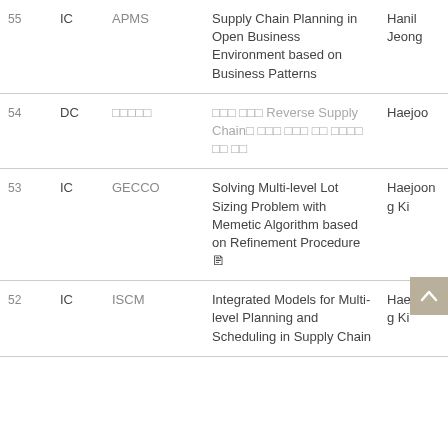| # | Type | Venue | Title | Author |
| --- | --- | --- | --- | --- |
| 55 | IC | APMS | Supply Chain Planning in Open Business Environment based on Business Patterns | Hanil Jeong |
| 54 | DC | □□□□□ | □□□ □□□ Reverse Supply Chain□ □□□ □□□ □□ □□□□ □□ □□ | Haejoo |
| 53 | IC | GECCO | Solving Multi-level Lot Sizing Problem with Memetic Algorithm based on Refinement Procedure 📄 | Haejoong Ki |
| 52 | IC | ISCM | Integrated Models for Multi-level Planning and Scheduling in Supply Chain | Haejoong Ki |